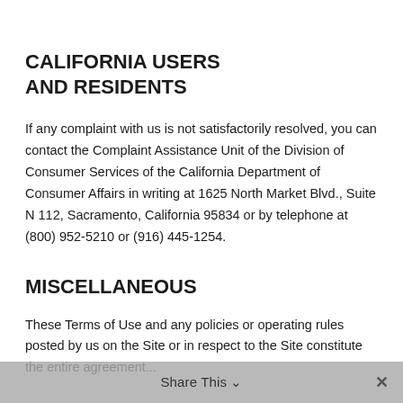CALIFORNIA USERS AND RESIDENTS
If any complaint with us is not satisfactorily resolved, you can contact the Complaint Assistance Unit of the Division of Consumer Services of the California Department of Consumer Affairs in writing at 1625 North Market Blvd., Suite N 112, Sacramento, California 95834 or by telephone at (800) 952-5210 or (916) 445-1254.
MISCELLANEOUS
These Terms of Use and any policies or operating rules posted by us on the Site or in respect to the Site constitute the entire agreement...